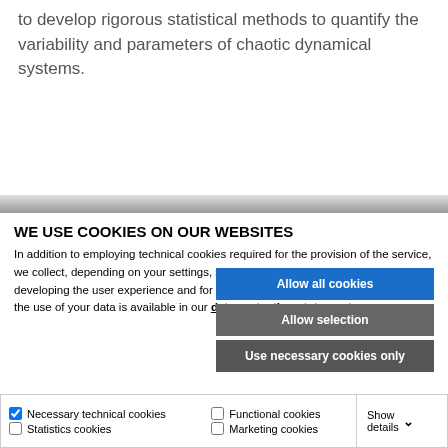to develop rigorous statistical methods to quantify the variability and parameters of chaotic dynamical systems.
WE USE COOKIES ON OUR WEBSITES
In addition to employing technical cookies required for the provision of the service, we collect, depending on your settings, statistical data as well as data for developing the user experience and for targeted marketing. Further information on the use of your data is available in our data protection statement.
Allow all cookies
Allow selection
Use necessary cookies only
Necessary technical cookies | Functional cookies | Statistics cookies | Marketing cookies | Show details